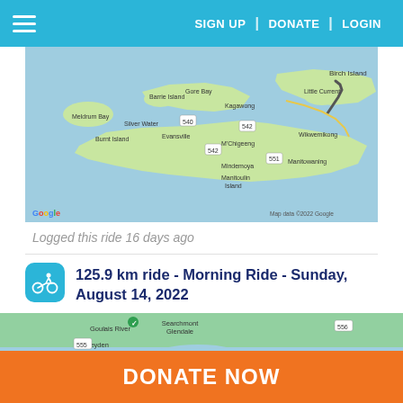SIGN UP | DONATE | LOGIN
[Figure (map): Google map showing Manitoulin Island and surrounding area with a cycling route marked in dark gray/black line near Birch Island and Little Current. Shows Meldrum Bay, Barrie Island, Gore Bay, Kagawong, Silver Water, Burnt Island, Evansville, M'Chigeeng, Wikwemikong, Mindemoya, Manitoulin Island, Manitowaning. Map data ©2022 Google.]
Logged this ride 16 days ago
125.9 km ride - Morning Ride - Sunday, August 14, 2022
[Figure (map): Google map showing Sault Ste. Marie and surrounding area including Searchmont Glendale, Goulais River, Heyden, Echo Bay, Little White River Provincial Park. Shows highways 550, 556, 129, 246.]
DONATE NOW